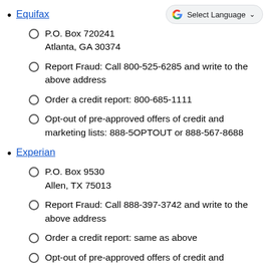Equifax
P.O. Box 720241
Atlanta, GA 30374
Report Fraud: Call 800-525-6285 and write to the above address
Order a credit report: 800-685-1111
Opt-out of pre-approved offers of credit and marketing lists: 888-5OPTOUT or 888-567-8688
Experian
P.O. Box 9530
Allen, TX 75013
Report Fraud: Call 888-397-3742 and write to the above address
Order a credit report: same as above
Opt-out of pre-approved offers of credit and marketing lists: